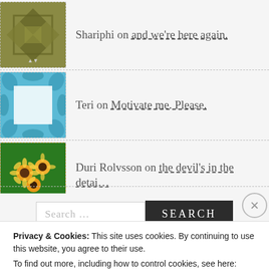Shariphi on and we're here again.
Teri on Motivate me. Please.
Duri Rolvsson on the devil's in the detai…
mariemclean on it's not you, it's…
[Figure (screenshot): Search bar with text input and SEARCH button]
Privacy & Cookies: This site uses cookies. By continuing to use this website, you agree to their use. To find out more, including how to control cookies, see here: Cookie Policy
Close and accept